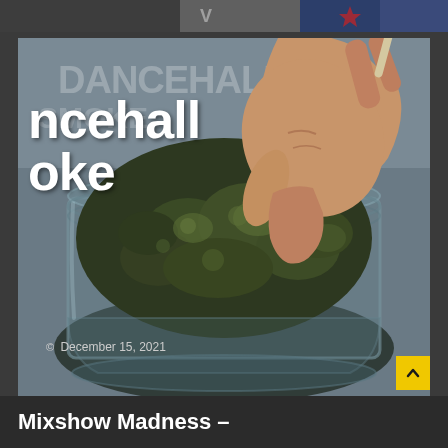[Figure (photo): Top strip showing partial image content at the top of the page]
[Figure (photo): Main photo showing a hand holding a lit cannabis joint/cigarette over a glass jar filled with cannabis buds. Text overlay reads 'dancehall' and 'oke' (partial words visible). Date overlay reads December 15, 2021 with clock icon.]
Mixshow Madness –